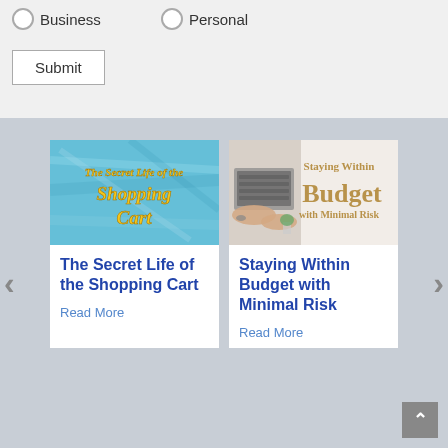Business
Personal
Submit
[Figure (illustration): Article card image: blue watercolor background with yellow italic text reading 'The Secret Life of the Shopping Cart']
The Secret Life of the Shopping Cart
Read More
[Figure (illustration): Article card image: desk with laptop hands, gold text reading 'Staying Within Budget with Minimal Risk']
Staying Within Budget with Minimal Risk
Read More